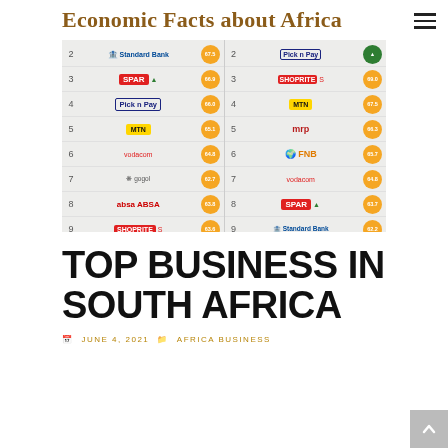Economic Facts about Africa
[Figure (infographic): A two-column brand ranking table showing top businesses in South Africa. Left column ranks: 2 Standard Bank, 3 SPAR, 4 Pick n Pay, 5 MTN, 6 Vodacom, 7 Gogol, 8 ABSA, 9 SHOPRITE with gold score badges. Right column ranks: 2 Pick n Pay, 3 SHOPRITE, 4 MTN, 5 mrp, 6 FNB, 7 Vodacom, 8 SPAR, 9 Standard Bank with gold score badges.]
TOP BUSINESS IN SOUTH AFRICA
JUNE 4, 2021   AFRICA BUSINESS